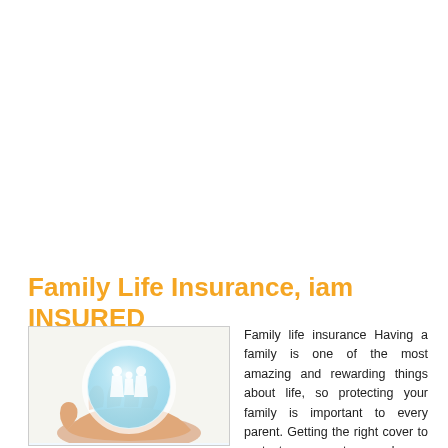Family Life Insurance, iam INSURED
[Figure (photo): A pair of hands cupping a glowing light-blue sphere with white silhouettes of a family (adults and children) inside it, symbolizing family protection through insurance.]
Family life insurance Having a family is one of the most amazing and rewarding things about life, so protecting your family is important to every parent. Getting the right cover to protect your partner and your children if the worst should